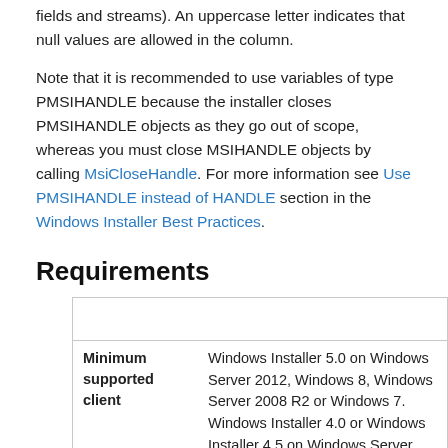fields and streams). An uppercase letter indicates that null values are allowed in the column.
Note that it is recommended to use variables of type PMSIHANDLE because the installer closes PMSIHANDLE objects as they go out of scope, whereas you must close MSIHANDLE objects by calling MsiCloseHandle. For more information see Use PMSIHANDLE instead of HANDLE section in the Windows Installer Best Practices.
Requirements
|  |  |
| Minimum supported client | Windows Installer 5.0 on Windows Server 2012, Windows 8, Windows Server 2008 R2 or Windows 7. Windows Installer 4.0 or Windows Installer 4.5 on Windows Server 2008 or Windows Vista. Windows Installer on Windows... |